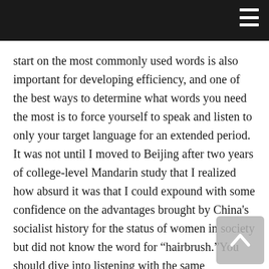start on the most commonly used words is also important for developing efficiency, and one of the best ways to determine what words you need the most is to force yourself to speak and listen to only your target language for an extended period. It was not until I moved to Beijing after two years of college-level Mandarin study that I realized how absurd it was that I could expound with some confidence on the advantages brought by China’s socialist history for the status of women in society but did not know the word for “hairbrush.”You should dive into listening with the same confidence, as you’ll find that the human brain can understand quite a bit even with weak knowledge of verbal components and structure. In the words of social psychologist and Harvard Business School professor Amy Cuddy,